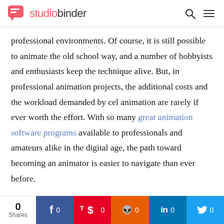studiobinder
professional environments. Of course, it is still possible to animate the old school way, and a number of hobbyists and enthusiasts keep the technique alive. But, in professional animation projects, the additional costs and the workload demanded by cel animation are rarely if ever worth the effort. With so many great animation software programs available to professionals and amateurs alike in the digital age, the path toward becoming an animator is easier to navigate than ever before.
0 Shares | Facebook 0 | Pinterest 0 | Reddit 0 | LinkedIn 0 | Twitter 0